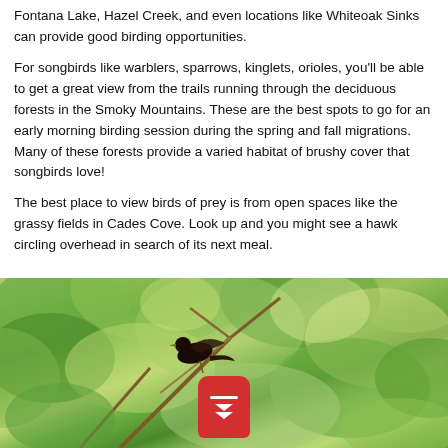Fontana Lake, Hazel Creek, and even locations like Whiteoak Sinks can provide good birding opportunities.
For songbirds like warblers, sparrows, kinglets, orioles, you'll be able to get a great view from the trails running through the deciduous forests in the Smoky Mountains. These are the best spots to go for an early morning birding session during the spring and fall migrations. Many of these forests provide a varied habitat of brushy cover that songbirds love!
The best place to view birds of prey is from open spaces like the grassy fields in Cades Cove. Look up and you might see a hawk circling overhead in search of its next meal.
[Figure (photo): A dark bird perched on a branch surrounded by green leaves and foliage, with a red app icon button overlaid at the bottom center of the image.]